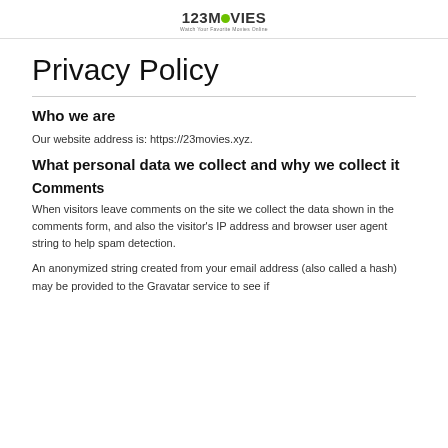123MOVIES Watch Your Favorite Movies Online
Privacy Policy
Who we are
Our website address is: https://23movies.xyz.
What personal data we collect and why we collect it
Comments
When visitors leave comments on the site we collect the data shown in the comments form, and also the visitor's IP address and browser user agent string to help spam detection.
An anonymized string created from your email address (also called a hash) may be provided to the Gravatar service to see if